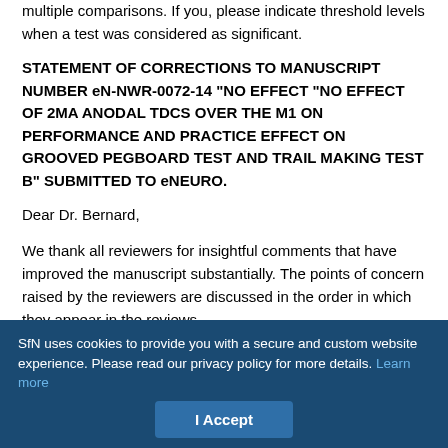multiple comparisons. If you, please indicate threshold levels when a test was considered as significant.
STATEMENT OF CORRECTIONS TO MANUSCRIPT NUMBER eN-NWR-0072-14 "NO EFFECT "NO EFFECT OF 2MA ANODAL TDCS OVER THE M1 ON PERFORMANCE AND PRACTICE EFFECT ON GROOVED PEGBOARD TEST AND TRAIL MAKING TEST B" SUBMITTED TO eNEURO.
Dear Dr. Bernard,
We thank all reviewers for insightful comments that have improved the manuscript substantially. The points of concern raised by the reviewers are discussed in the order in which they appear in the reviews.
SfN uses cookies to provide you with a secure and custom website experience. Please read our privacy policy for more details. Learn more
I Accept